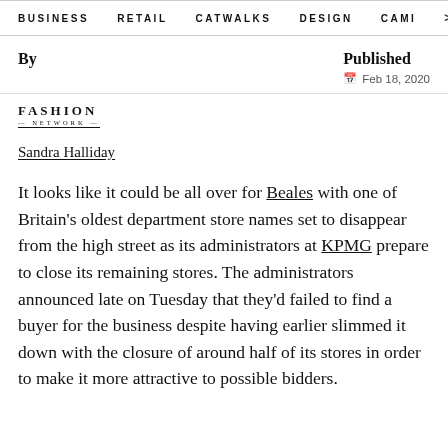BUSINESS   RETAIL   CATWALKS   DESIGN   CAMI  >
By
Published
Feb 18, 2020
[Figure (logo): Fashion Network logo]
Sandra Halliday
It looks like it could be all over for Beales with one of Britain's oldest department store names set to disappear from the high street as its administrators at KPMG prepare to close its remaining stores. The administrators announced late on Tuesday that they'd failed to find a buyer for the business despite having earlier slimmed it down with the closure of around half of its stores in order to make it more attractive to possible bidders.